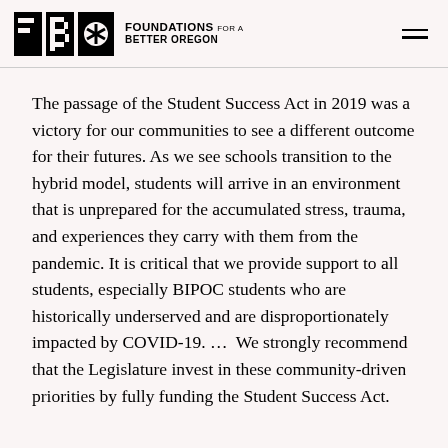Foundations for a Better Oregon
The passage of the Student Success Act in 2019 was a victory for our communities to see a different outcome for their futures. As we see schools transition to the hybrid model, students will arrive in an environment that is unprepared for the accumulated stress, trauma, and experiences they carry with them from the pandemic. It is critical that we provide support to all students, especially BIPOC students who are historically underserved and are disproportionately impacted by COVID-19. …  We strongly recommend that the Legislature invest in these community-driven priorities by fully funding the Student Success Act.